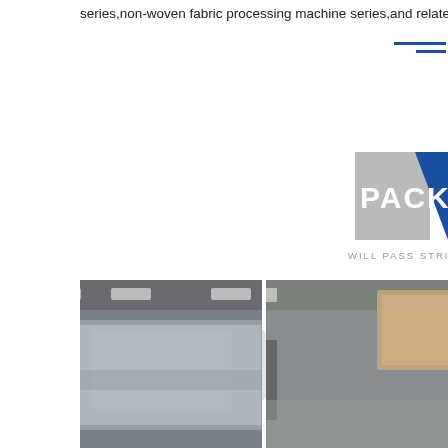series,non-woven fabric processing machine series,and related sup
[Figure (infographic): Section banner with 'PACKAG' text on gray background with blue corner accent]
WILL PASS STRICT PACKING
[Figure (infographic): Two transportation icons: 'By car' (bus icon in circle) and 'By ship' (ship icon in circle)]
[Figure (photo): Warehouse photo showing machinery wrapped in plastic film for packaging]
[Figure (photo): Warehouse photo showing worker next to wooden crate packaging]